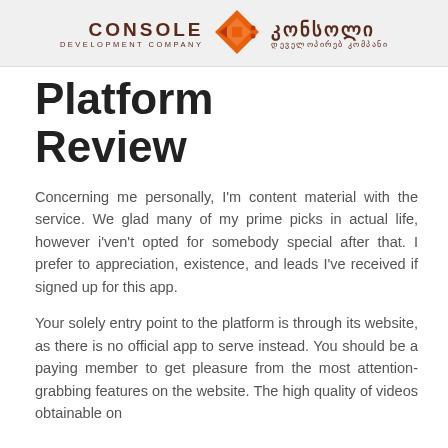[Figure (logo): Console Development Company logo with Georgian text (კონსოლი დეველოპირებ კომპანი) and an orange diamond/arrow icon in the center]
Platform Review
Concerning me personally, I'm content material with the service. We glad many of my prime picks in actual life, however i'ven't opted for somebody special after that. I prefer to appreciation, existence, and leads I've received if signed up for this app.
Your solely entry point to the platform is through its website, as there is no official app to serve instead. You should be a paying member to get pleasure from the most attention-grabbing features on the website. The high quality of videos obtainable on